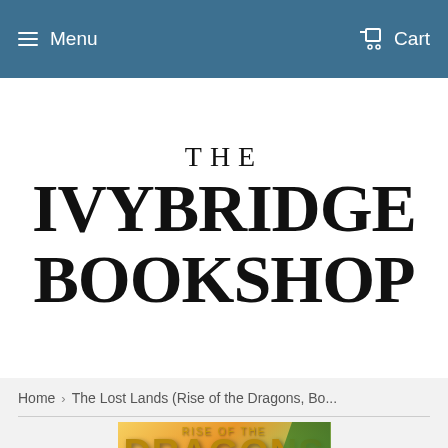Menu | Cart
[Figure (logo): The Ivybridge Bookshop logo — serif text with 'THE' above 'IVYBRIDGE' above 'BOOKSHOP' in large bold serif font on white background]
Home › The Lost Lands (Rise of the Dragons, Bo...
[Figure (photo): Book cover for 'Rise of the Dragons' showing stylized dragons text on a warm sunset/green background with a dragon wing visible]